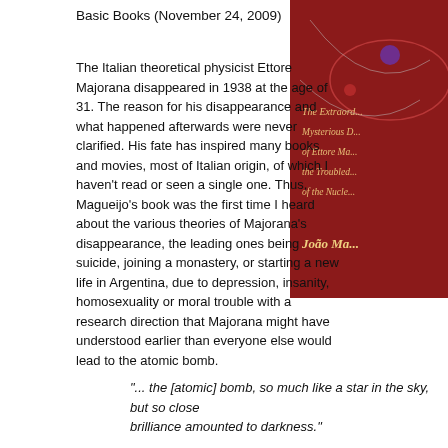Basic Books (November 24, 2009)
[Figure (photo): Book cover showing a red background with italic text: 'The Extraordinary Mysterious Disappearance of Ettore Majorana and the Troubled Birth of the Nuclear Age' by João Magueijo, with dark matter visualization graphics]
The Italian theoretical physicist Ettore Majorana disappeared in 1938 at the age of 31. The reason for his disappearance and what happened afterwards were never clarified. His fate has inspired many books and movies, most of Italian origin, of which I haven't read or seen a single one. Thus, Magueijo's book was the first time I heard about the various theories of Majorana's disappearance, the leading ones being suicide, joining a monastery, or starting a new life in Argentina, due to depression, insanity, homosexuality or moral trouble with a research direction that Majorana might have understood earlier than everyone else would lead to the atomic bomb.
"... the [atomic] bomb, so much like a star in the sky, but so close that its brilliance amounted to darkness."
The more obscure theories feature various conspiracies, special forces,
João's book, instead of listing all these theories, is a report on his following the fate. He has interviewed friends and relatives, seen the movies, read the places. Woven together with his travels are explanations of the physics M